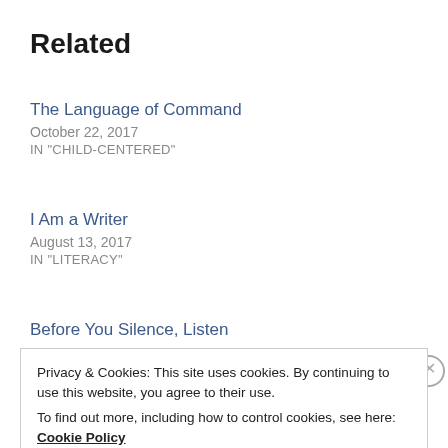Related
The Language of Command
October 22, 2017
IN "CHILD-CENTERED"
I Am a Writer
August 13, 2017
IN "LITERACY"
Before You Silence, Listen
Privacy & Cookies: This site uses cookies. By continuing to use this website, you agree to their use.
To find out more, including how to control cookies, see here:
Cookie Policy
Close and accept